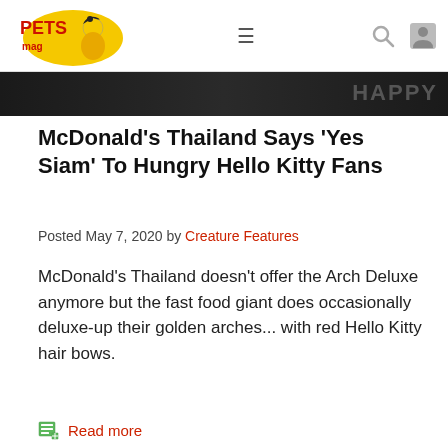PETS mag — navigation bar with logo, hamburger menu, search, and profile icons
[Figure (photo): Dark hero image strip at top of article]
McDonald's Thailand Says 'Yes Siam' To Hungry Hello Kitty Fans
Posted May 7, 2020 by Creature Features
McDonald's Thailand doesn't offer the Arch Deluxe anymore but the fast food giant does occasionally deluxe-up their golden arches... with red Hello Kitty hair bows.
Read more
[Figure (photo): Stuffed animal toy resembling a Shiba Inu dog with orange/tan fur, peeking up from the bottom of the frame]